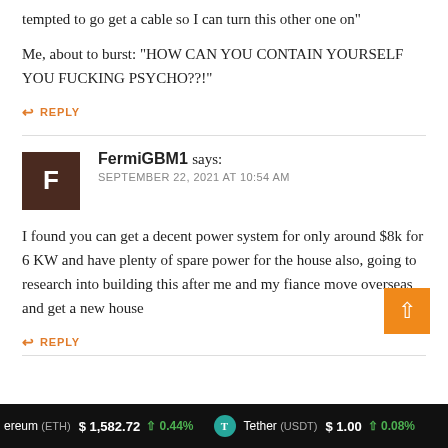tempted to go get a cable so I can turn this other one on"
Me, about to burst: "HOW CAN YOU CONTAIN YOURSELF YOU FUCKING PSYCHO??!"
↩ REPLY
FermiGBM1 says: SEPTEMBER 22, 2021 AT 10:54 AM
I found you can get a decent power system for only around $8k for 6 KW and have plenty of spare power for the house also, going to research into building this after me and my fiance move overseas and get a new house
↩ REPLY
ereum (ETH) $1,582.72 ↑0.44% Tether (USDT) $1.00 ↑0.08%